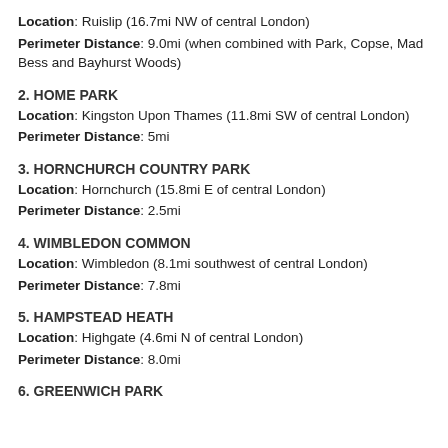Location: Ruislip (16.7mi NW of central London)
Perimeter Distance: 9.0mi (when combined with Park, Copse, Mad Bess and Bayhurst Woods)
2. HOME PARK
Location: Kingston Upon Thames (11.8mi SW of central London)
Perimeter Distance: 5mi
3. HORNCHURCH COUNTRY PARK
Location: Hornchurch (15.8mi E of central London)
Perimeter Distance: 2.5mi
4. WIMBLEDON COMMON
Location: Wimbledon (8.1mi southwest of central London)
Perimeter Distance: 7.8mi
5. HAMPSTEAD HEATH
Location: Highgate (4.6mi N of central London)
Perimeter Distance: 8.0mi
6. GREENWICH PARK